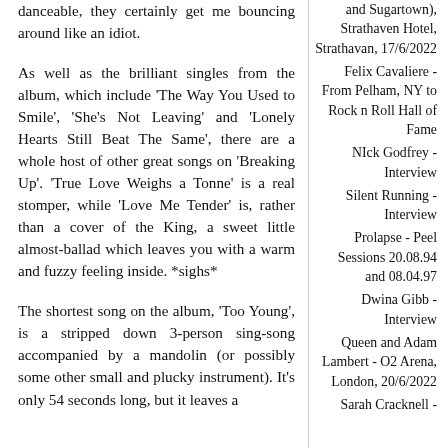danceable, they certainly get me bouncing around like an idiot.
As well as the brilliant singles from the album, which include 'The Way You Used to Smile', 'She's Not Leaving' and 'Lonely Hearts Still Beat The Same', there are a whole host of other great songs on 'Breaking Up'. 'True Love Weighs a Tonne' is a real stomper, while 'Love Me Tender' is, rather than a cover of the King, a sweet little almost-ballad which leaves you with a warm and fuzzy feeling inside. *sighs*
The shortest song on the album, 'Too Young', is a stripped down 3-person sing-song accompanied by a mandolin (or possibly some other small and plucky instrument). It's only 54 seconds long, but it leaves a
and Sugartown), Strathaven Hotel, Strathavan, 17/6/2022
Felix Cavaliere - From Pelham, NY to Rock n Roll Hall of Fame
NIck Godfrey - Interview
Silent Running - Interview
Prolapse - Peel Sessions 20.08.94 and 08.04.97
Dwina Gibb - Interview
Queen and Adam Lambert - O2 Arena, London, 20/6/2022
Sarah Cracknell -